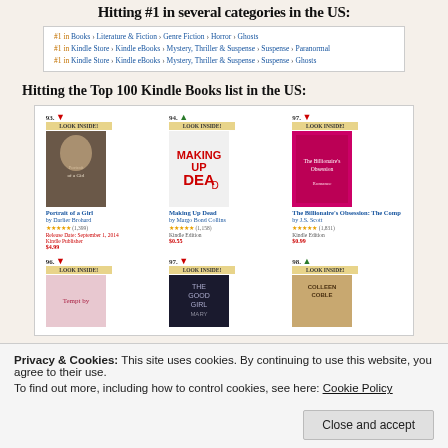Hitting #1 in several categories in the US:
#1 in Books > Literature & Fiction > Genre Fiction > Horror > Ghosts
#1 in Kindle Store > Kindle eBooks > Mystery, Thriller & Suspense > Suspense > Paranormal
#1 in Kindle Store > Kindle eBooks > Mystery, Thriller & Suspense > Suspense > Ghosts
Hitting the Top 100 Kindle Books list in the US:
[Figure (screenshot): Amazon Kindle Top 100 books grid showing 6 book covers with rankings 93, 94, 97, 96, 97, 98. Top row: Portrait of a Girl by Darlier Brohard (#93, down arrow), Making Up Dead by Margo Bond Collins (#94, up arrow), The Billionaire's Obsession: The Comp by J.S. Scott (#97, down arrow). Bottom row (partial): three more books.]
Privacy & Cookies: This site uses cookies. By continuing to use this website, you agree to their use.
To find out more, including how to control cookies, see here: Cookie Policy
Close and accept